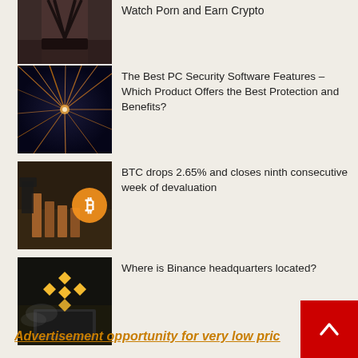[Figure (photo): Woman in black bikini top, partially cropped image]
Watch Porn and Earn Crypto
[Figure (photo): Digital cyber network with orange light streaks on dark background]
The Best PC Security Software Features – Which Product Offers the Best Protection and Benefits?
[Figure (photo): Person in suit with Bitcoin logo and falling wooden blocks on a table]
BTC drops 2.65% and closes ninth consecutive week of devaluation
[Figure (photo): Binance logo (yellow diamond shapes) on dark background with laptop]
Where is Binance headquarters located?
Advertisement opportunity for very low pric